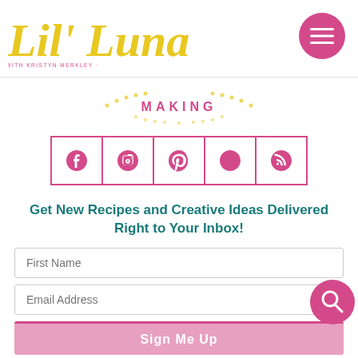[Figure (logo): Lil' Luna script logo in gold/yellow with 'with Kristyn Merkley' subtitle in pink]
[Figure (illustration): Pink circular hamburger menu button with three white horizontal lines]
MAKING
[Figure (illustration): Social media icons row (Facebook, Instagram, Pinterest, Twitter, RSS) in pink outlined boxes]
Get New Recipes and Creative Ideas Delivered Right to Your Inbox!
First Name
Email Address
[Figure (illustration): Pink circular search button with magnifying glass icon]
Sign Me Up